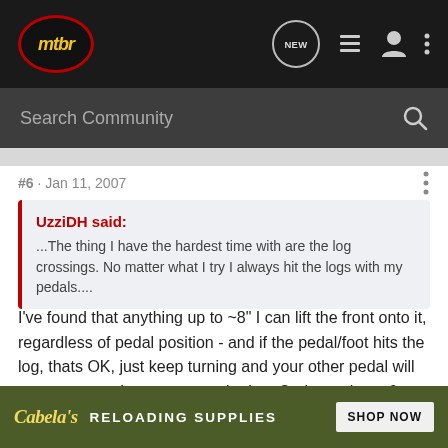mtbr
Search Community
#6 · Jan 11, 2007
UzziDH said:
...The thing I have the hardest time with are the log crossings. No matter what I try I always hit the logs with my pedals....
I've found that anything up to ~8" I can lift the front onto it, regardless of pedal position - and if the pedal/foot hits the log, thats OK, just keep turning and your other pedal will come over and you are over the log. On larger logs, & rocks, I need to time my pedals, and that can mean some zig-zags, hops or backup up and reseting. One of the neat things about a fixie is you can stop and
Cabela's RELOADING SUPPLIES SHOP NOW